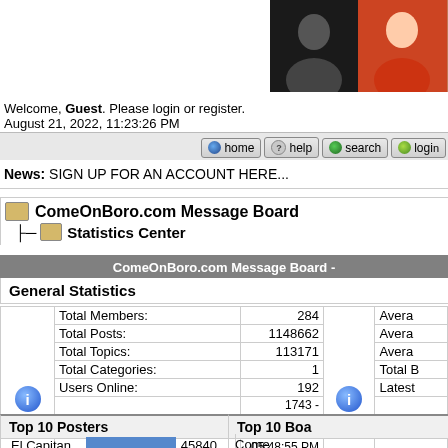[Figure (photo): Row of 5 photos of people (football club member photos) at the top right of the page]
Welcome, Guest. Please login or register.
August 21, 2022, 11:23:26 PM
[Figure (infographic): Navigation bar with home, help, search, login buttons]
News: SIGN UP FOR AN ACCOUNT HERE...
ComeOnBoro.com Message Board
└─ Statistics Center
ComeOnBoro.com Message Board -
General Statistics
|  | Stat | Value |  | Stat |
| --- | --- | --- | --- | --- |
|  | Total Members: | 284 |  | Avera |
|  | Total Posts: | 1148662 |  | Avera |
|  | Total Topics: | 113171 |  | Avera |
|  | Total Categories: | 1 |  | Total B |
|  | Users Online: | 192 |  | Latest |
|  | Most Online: | 1743 - August 04, 2020, 05:48:55 PM |  | Avera |
|  | Online Today: | 223 |  | Male t |
|  | Total page views: | 219350701 |  | Avera |
Top 10 Posters
Top 10 Boa
| Name | Bar | Posts |
| --- | --- | --- |
| El Capitan | [bar] | 45840 |
| Nikesh Mich | [bar] | 43097 |